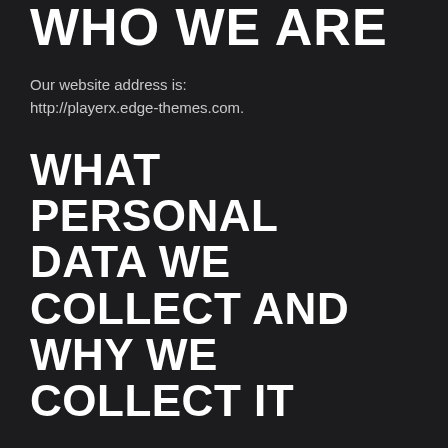WHO WE ARE
Our website address is: http://playerx.edge-themes.com.
WHAT PERSONAL DATA WE COLLECT AND WHY WE COLLECT IT
COMMENTS
When visitors leave comments on the site we collect the data shown in the comments form, and also the visitor's IP